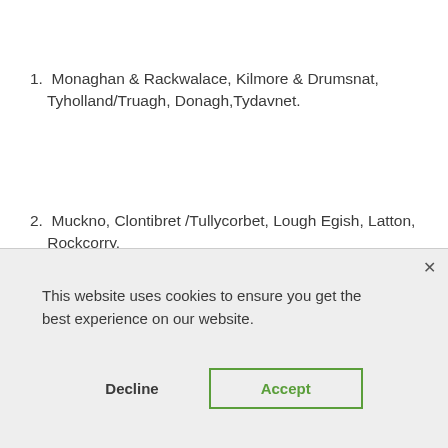1. Monaghan & Rackwalace, Kilmore & Drumsnat, Tyholland/Truagh, Donagh,Tydavnet.
2. Muckno, Clontibret /Tullycorbet, Lough Egish, Latton, Rockcorry.
[Figure (screenshot): Cookie consent modal dialog with close button (×), text 'This website uses cookies to ensure you get the best experience on our website.', and two buttons: 'Decline' and 'Accept']